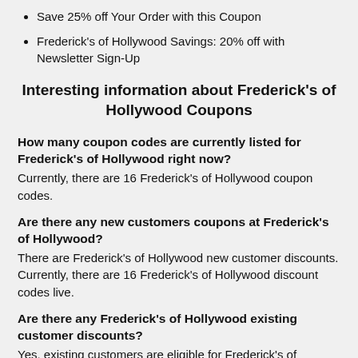Save 25% off Your Order with this Coupon
Frederick's of Hollywood Savings: 20% off with Newsletter Sign-Up
Interesting information about Frederick's of Hollywood Coupons
How many coupon codes are currently listed for Frederick's of Hollywood right now?
Currently, there are 16 Frederick's of Hollywood coupon codes.
Are there any new customers coupons at Frederick's of Hollywood?
There are Frederick's of Hollywood new customer discounts. Currently, there are 16 Frederick's of Hollywood discount codes live.
Are there any Frederick's of Hollywood existing customer discounts?
Yes, existing customers are eligible for Frederick's of Hollywood discounts. Right now there are 14 Frederick's of Hollywood discount codes available to existing customers.